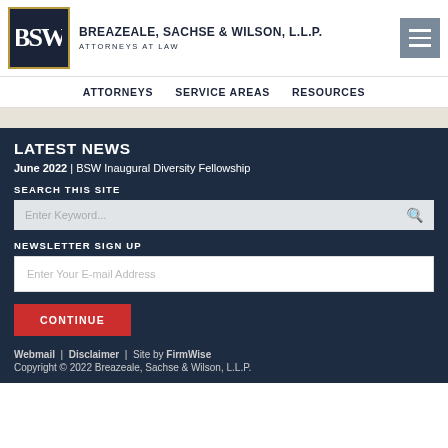[Figure (logo): Breazeale, Sachse & Wilson, L.L.P. law firm logo — dark navy square with BSW monogram in white and gold border, beside firm name and tagline]
BREAZEALE, SACHSE & WILSON, L.L.P. ATTORNEYS AT LAW
ATTORNEYS | SERVICE AREAS | RESOURCES
LATEST NEWS
June 2022 | BSW Inaugural Diversity Fellowship
SEARCH THIS SITE
Enter Keyword...
NEWSLETTER SIGN UP
Enter Your E-mail Address
CONTINUE
Webmail | Disclaimer | Site by FirmWise
Copyright © 2022 Breazeale, Sachse & Wilson, L.L.P.